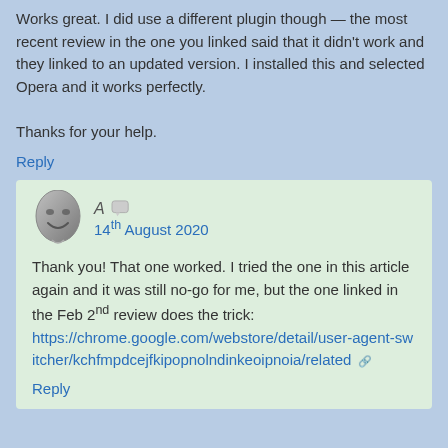Works great. I did use a different plugin though — the most recent review in the one you linked said that it didn't work and they linked to an updated version. I installed this and selected Opera and it works perfectly.

Thanks for your help.
Reply
A  14th August 2020
Thank you! That one worked. I tried the one in this article again and it was still no-go for me, but the one linked in the Feb 2nd review does the trick: https://chrome.google.com/webstore/detail/user-agent-switcher/kchfmpdcejfkipopnolndinkeoipnoia/related
Reply